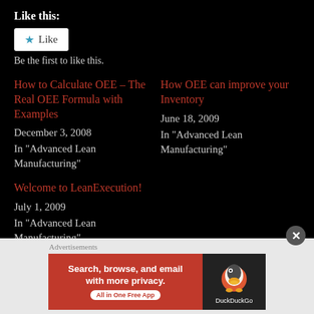Like this:
[Figure (other): A 'Like' button widget with a blue star icon and white button background]
Be the first to like this.
How to Calculate OEE – The Real OEE Formula with Examples
December 3, 2008
In "Advanced Lean Manufacturing"
How OEE can improve your Inventory
June 18, 2009
In "Advanced Lean Manufacturing"
Welcome to LeanExecution!
July 1, 2009
In "Advanced Lean Manufacturing"
Advertisements
[Figure (other): DuckDuckGo advertisement banner: 'Search, browse, and email with more privacy. All in One Free App' with DuckDuckGo duck logo on dark background]